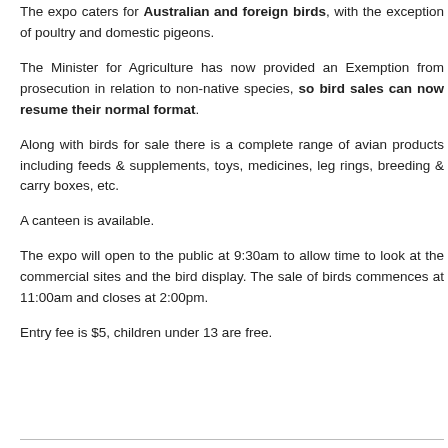The expo caters for Australian and foreign birds, with the exception of poultry and domestic pigeons.
The Minister for Agriculture has now provided an Exemption from prosecution in relation to non-native species, so bird sales can now resume their normal format.
Along with birds for sale there is a complete range of avian products including feeds & supplements, toys, medicines, leg rings, breeding & carry boxes, etc.
A canteen is available.
The expo will open to the public at 9:30am to allow time to look at the commercial sites and the bird display. The sale of birds commences at 11:00am and closes at 2:00pm.
Entry fee is $5, children under 13 are free.